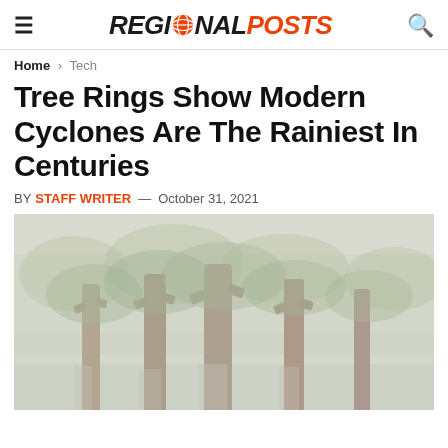REGIONAL POSTS
Home > Tech
Tree Rings Show Modern Cyclones Are The Rainiest In Centuries
BY STAFF WRITER — October 31, 2021
[Figure (photo): A misty swamp or wetland forest scene with large cypress trees standing in water, surrounded by dense green foliage in a faded, washed-out photographic style.]